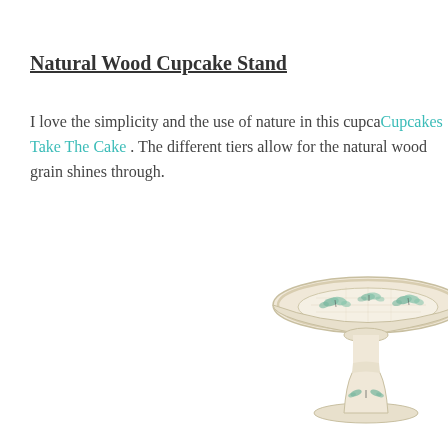Natural Wood Cupcake Stand
I love the simplicity and the use of nature in this cupcake stand found on Cupcakes Take The Cake . The different tiers allow for the natural wood grain shines through.
[Figure (photo): A decorative ceramic cake stand with butterfly motifs on a white/cream base, viewed slightly from above and to the side.]